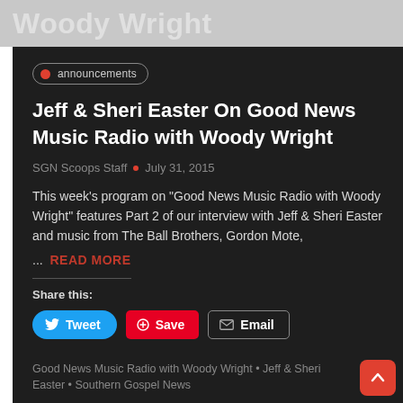Woody Wright
announcementsJeff & Sheri Easter On Good News Music Radio with Woody Wright
SGN Scoops Staff • July 31, 2015
This week's program on "Good News Music Radio with Woody Wright" features Part 2 of our interview with Jeff & Sheri Easter and music from The Ball Brothers, Gordon Mote,
... READ MORE
Share this:
Good News Music Radio with Woody Wright • Jeff & Sheri Easter • Southern Gospel News